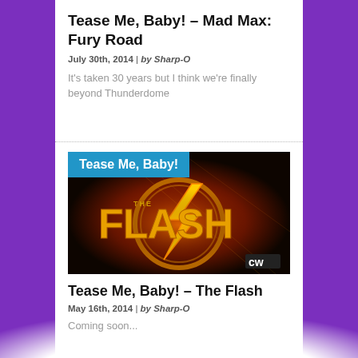Tease Me, Baby! – Mad Max: Fury Road
July 30th, 2014 | by Sharp-O
It's taken 30 years but I think we're finally beyond Thunderdome
[Figure (illustration): The Flash TV show logo on dark background with 'Tease Me, Baby!' blue badge overlay and CW network logo]
Tease Me, Baby! – The Flash
May 16th, 2014 | by Sharp-O
Coming Soon...